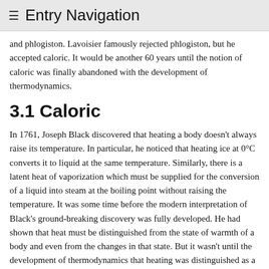≡ Entry Navigation
and phlogiston. Lavoisier famously rejected phlogiston, but he accepted caloric. It would be another 60 years until the notion of caloric was finally abandoned with the development of thermodynamics.
3.1 Caloric
In 1761, Joseph Black discovered that heating a body doesn't always raise its temperature. In particular, he noticed that heating ice at 0°C converts it to liquid at the same temperature. Similarly, there is a latent heat of vaporization which must be supplied for the conversion of a liquid into steam at the boiling point without raising the temperature. It was some time before the modern interpretation of Black's ground-breaking discovery was fully developed. He had shown that heat must be distinguished from the state of warmth of a body and even from the changes in that state. But it wasn't until the development of thermodynamics that heating was distinguished as a process from the property or quality of being warm without reference to temperature of a body, that...